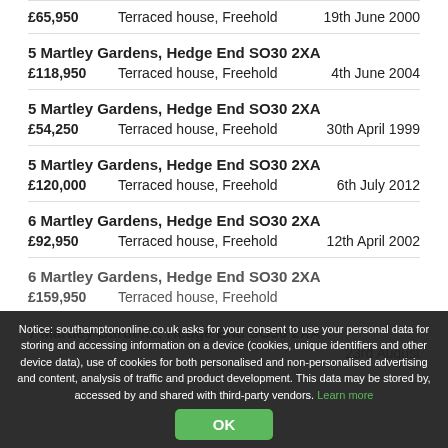£65,950   Terraced house, Freehold   19th June 2000
5 Martley Gardens, Hedge End SO30 2XA
£118,950   Terraced house, Freehold   4th June 2004
5 Martley Gardens, Hedge End SO30 2XA
£54,250   Terraced house, Freehold   30th April 1999
5 Martley Gardens, Hedge End SO30 2XA
£120,000   Terraced house, Freehold   6th July 2012
6 Martley Gardens, Hedge End SO30 2XA
£92,950   Terraced house, Freehold   12th April 2002
6 Martley Gardens, Hedge End SO30 2XA
£159,950   Terraced house, Freehold
7 Martley Gardens, Hedge End SO30 2XA
23rd August
Notice: southamptononline.co.uk asks for your consent to use your personal data for storing and accessing information on a device (cookies, unique identifiers and other device data), use of cookies for both personalised and non-personalised advertising and content, analysis of traffic and product development. This data may be stored by, accessed by and shared with third-party vendors. Learn more